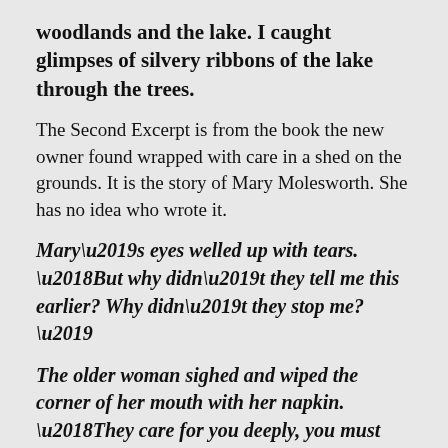woodlands and the lake. I caught glimpses of silvery ribbons of the lake through the trees.
The Second Excerpt is from the book the new owner found wrapped with care in a shed on the grounds. It is the story of Mary Molesworth. She has no idea who wrote it.
Mary’s eyes welled up with tears. ‘But why didn’t they tell me this earlier? Why didn’t they stop me?’
The older woman sighed and wiped the corner of her mouth with her napkin. ‘They care for you deeply, you must know that. Your mother cannot travel at this time. She said your father is getting worse and cannot be left alone. They truly thought you would be safer here in Westmeath, but they